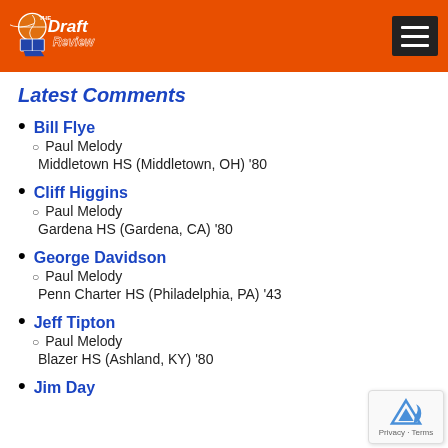[Figure (logo): The Draft Review basketball website logo with orange and black text on orange header background]
Latest Comments
Bill Flye · Paul Melody · Middletown HS (Middletown, OH) '80
Cliff Higgins · Paul Melody · Gardena HS (Gardena, CA) '80
George Davidson · Paul Melody · Penn Charter HS (Philadelphia, PA) '43
Jeff Tipton · Paul Melody · Blazer HS (Ashland, KY) '80
Jim Day